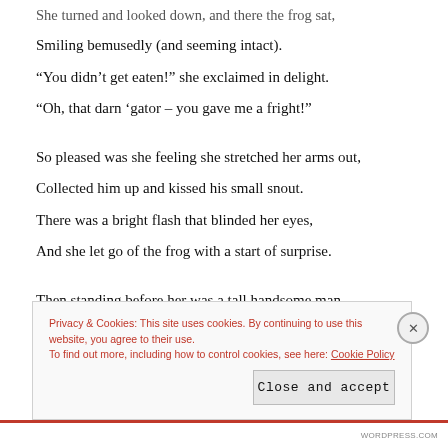She turned and looked down, and there the frog sat,
Smiling bemusedly (and seeming intact).
“You didn’t get eaten!” she exclaimed in delight.
“Oh, that darn ‘gator – you gave me a fright!”
So pleased was she feeling she stretched her arms out,
Collected him up and kissed his small snout.
There was a bright flash that blinded her eyes,
And she let go of the frog with a start of surprise.
Then standing before her was a tall handsome man
Who smiled and reached down to offer a hand.
Privacy & Cookies: This site uses cookies. By continuing to use this website, you agree to their use.
To find out more, including how to control cookies, see here: Cookie Policy
Close and accept